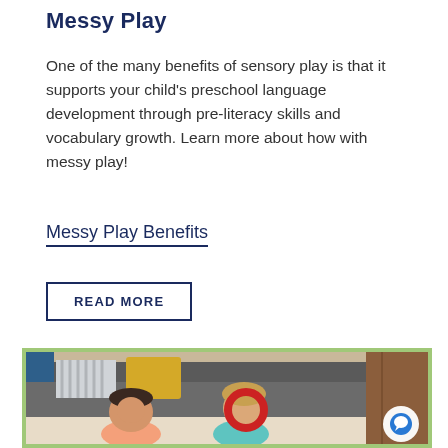Messy Play
One of the many benefits of sensory play is that it supports your child's preschool language development through pre-literacy skills and vocabulary growth. Learn more about how with messy play!
Messy Play Benefits
READ MORE
[Figure (photo): Two children sitting on the floor in front of a sofa. A boy on the left in a pink/salmon shirt looks down, and a girl on the right holds a red ring up to her face. A chat bubble icon appears in the bottom right corner of the image.]